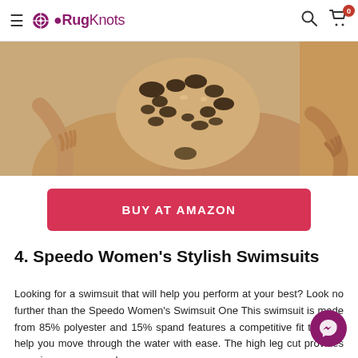RugKnots
[Figure (photo): Close-up photo of a woman wearing a leopard print bikini bottom, cropped at waist and upper thigh level. A second partial image is visible at the right edge.]
BUY AT AMAZON
4. Speedo Women's Stylish Swimsuits
Looking for a swimsuit that will help you perform at your best? Look no further than the Speedo Women's Swimsuit One This swimsuit is made from 85% polyester and 15% spand features a competitive fit that will help you move through the water with ease. The high leg cut provides superior coverage and